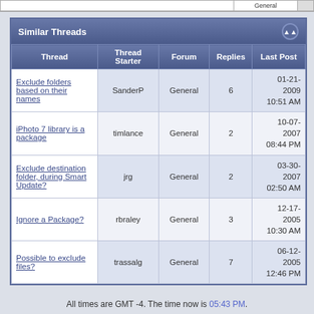| Thread | Thread Starter | Forum | Replies | Last Post |
| --- | --- | --- | --- | --- |
| Exclude folders based on their names | SanderP | General | 6 | 01-21-2009
10:51 AM |
| iPhoto 7 library is a package | timlance | General | 2 | 10-07-2007
08:44 PM |
| Exclude destination folder, during Smart Update? | jrg | General | 2 | 03-30-2007
02:50 AM |
| Ignore a Package? | rbraley | General | 3 | 12-17-2005
10:30 AM |
| Possible to exclude files? | trassalg | General | 7 | 06-12-2005
12:46 PM |
All times are GMT -4. The time now is 05:43 PM.
Contact Us - Shirt Pocket - Archive - Top
Powered by vBulletin® Version 3.8.9
Copyright ©2000 - 2022, vBulletin Solutions, Inc.